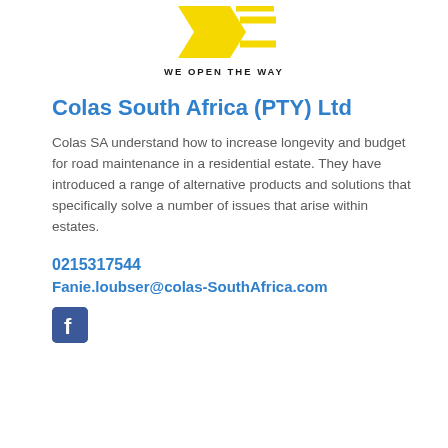[Figure (logo): Colas logo - yellow chevron/arrow shape with yellow diagonal lines, above tagline WE OPEN THE WAY]
WE OPEN THE WAY
Colas South Africa (PTY) Ltd
Colas SA understand how to increase longevity and budget for road maintenance in a residential estate. They have introduced a range of alternative products and solutions that specifically solve a number of issues that arise within estates.
0215317544
Fanie.loubser@colas-SouthAfrica.com
[Figure (logo): Facebook logo icon - white 'f' on dark blue rounded square background]